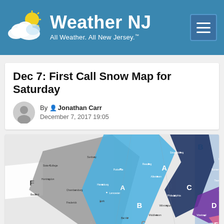Weather NJ — All Weather. All New Jersey.
Dec 7: First Call Snow Map for Saturday
By Jonathan Carr
December 7, 2017 19:05
[Figure (map): Snow forecast map for the Mid-Atlantic region showing zones labeled A through F with color-coded snowfall accumulation bands. Zone B (blue) covers central NJ/PA corridor, Zone C (dark blue/navy) covers coastal NJ, Zone D (purple) covers southern NJ shore area, Zone E (pink) covers far southern coastal NJ, Zone A (gray) covers western PA/central PA, and Zone F covers far western PA. Cities labeled include Stroudsburg, Paterson, Newark, Somerville, Allentown, Trenton, Philadelphia, Toms River, Reading, Wilmington, Atlantic City, Vineland, Middletown, Bel Air, Baltimore, Lancaster, York, Harrisburg, Chambersburg, Bedford, Huntingdon, State College, Sunbury, Pottsville, Frederick.]
[Figure (logo): Weather NJ and EPAWA logos visible at bottom of page]